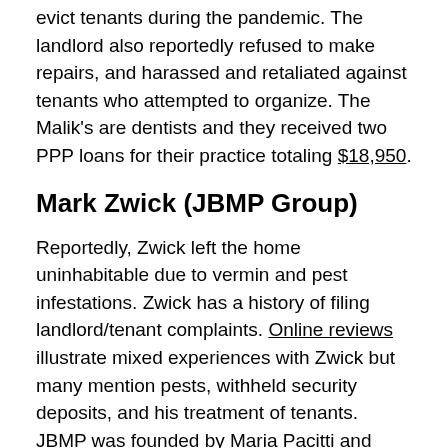evict tenants during the pandemic. The landlord also reportedly refused to make repairs, and harassed and retaliated against tenants who attempted to organize. The Malik's are dentists and they received two PPP loans for their practice totaling $18,950.
Mark Zwick (JBMP Group)
Reportedly, Zwick left the home uninhabitable due to vermin and pest infestations. Zwick has a history of filing landlord/tenant complaints. Online reviews illustrate mixed experiences with Zwick but many mention pests, withheld security deposits, and his treatment of tenants. JBMP was founded by Maria Pacitti and they received a PPP loan of $47,043.